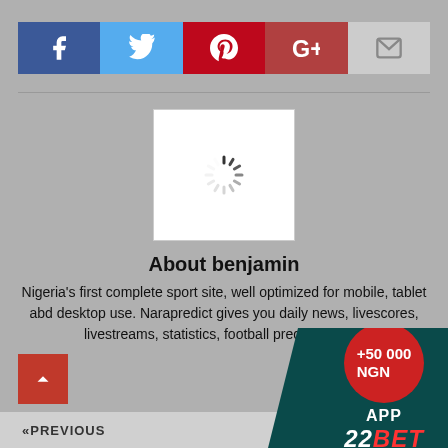[Figure (other): Social media share buttons: Facebook (blue), Twitter (light blue), Pinterest (red), Google+ (dark red), Email (grey)]
[Figure (photo): Avatar/profile image placeholder with loading spinner on white background]
About benjamin
Nigeria's first complete sport site, well optimized for mobile, tablet abd desktop use. Narapredict gives you daily news, livescores, livestreams, statistics, football predictions on.
[Figure (infographic): 22Bet app advertisement overlay in bottom right corner: red circle badge with +50 000 NGN, APP text, and 22BET logo in red on dark teal background]
« PREVIOUS